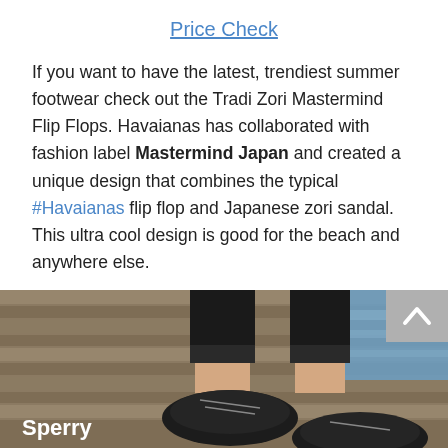Price Check
If you want to have the latest, trendiest summer footwear check out the Tradi Zori Mastermind Flip Flops. Havaianas has collaborated with fashion label Mastermind Japan and created a unique design that combines the typical #Havaianas flip flop and Japanese zori sandal. This ultra cool design is good for the beach and anywhere else.
[Figure (photo): Photo of person wearing black Sperry boat shoes on a wooden dock with water in the background. Sperry brand name visible in white text overlay at bottom left.]